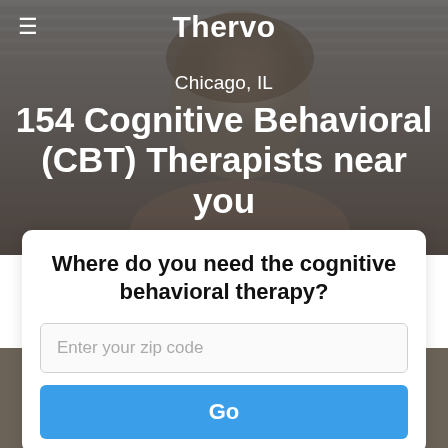[Figure (photo): Background photo of a smiling woman, muted gray overlay, used as hero image for a therapy finder website]
Thervo
Chicago, IL
154 Cognitive Behavioral (CBT) Therapists near you
Where do you need the cognitive behavioral therapy?
Enter your zip code
Go